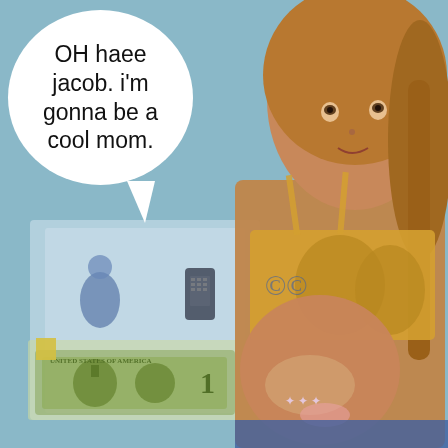[Figure (photo): A Barbie-style doll with long braided blonde hair, tan skin, wearing a gold crop top and low-rise jeans, with a pregnant-looking belly decorated with glitter stars and a tattoo design. In the background are toy accessories including a mobile phone, a baby figure, and US dollar bills. A speech bubble in the upper left reads: OH haee jacob. i'm gonna be a cool mom.]